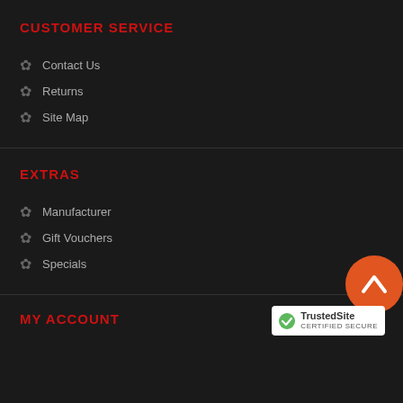CUSTOMER SERVICE
Contact Us
Returns
Site Map
EXTRAS
Manufacturer
Gift Vouchers
Specials
MY ACCOUNT
[Figure (logo): TrustedSite Certified Secure badge]
[Figure (other): Orange circular back-to-top button with upward chevron]